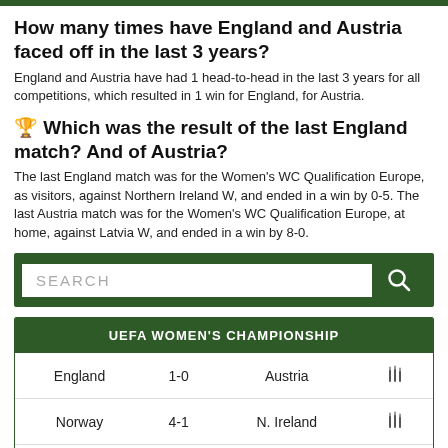How many times have England and Austria faced off in the last 3 years?
England and Austria have had 1 head-to-head in the last 3 years for all competitions, which resulted in 1 win for England, for Austria.
🏆 Which was the result of the last England match? And of Austria?
The last England match was for the Women's WC Qualification Europe, as visitors, against Northern Ireland W, and ended in a win by 0-5. The last Austria match was for the Women's WC Qualification Europe, at home, against Latvia W, and ended in a win by 8-0.
[Figure (other): Search bar with dark green background and search icon]
| UEFA WOMEN'S CHAMPIONSHIP |  |  |  |
| --- | --- | --- | --- |
| England | 1-0 | Austria | ⚽ |
| Norway | 4-1 | N. Ireland | ⚽ |
| Spain | 4-1 | Finland | ⚽ |